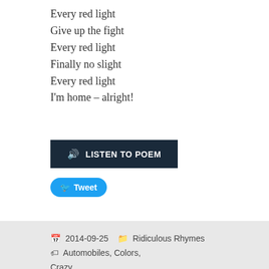Every red light
Give up the fight
Every red light
Finally no slight
Every red light
I'm home – alright!
[Figure (other): Listen to poem button (dark navy background, white text with speaker icon) and Tweet button (blue rounded, white bird icon and text)]
2014-09-25  Ridiculous Rhymes  Automobiles, Colors, Crazy
140923
[Figure (photo): Bottom edge of a photograph showing a beige/sandy colored surface]